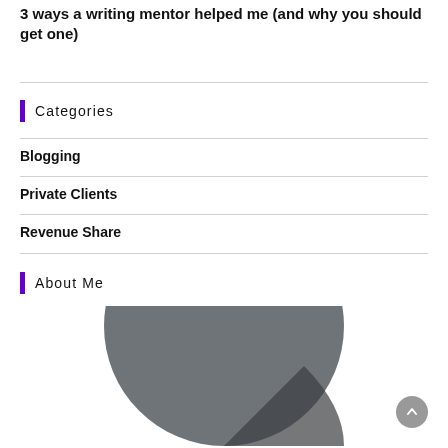3 ways a writing mentor helped me (and why you should get one)
Categories
Blogging
Private Clients
Revenue Share
About Me
[Figure (photo): Circular cropped photo of a person, shown from neck up, with a dark grey/charcoal background, partially visible against a white background. A scroll-to-top button is visible in the bottom-right corner.]